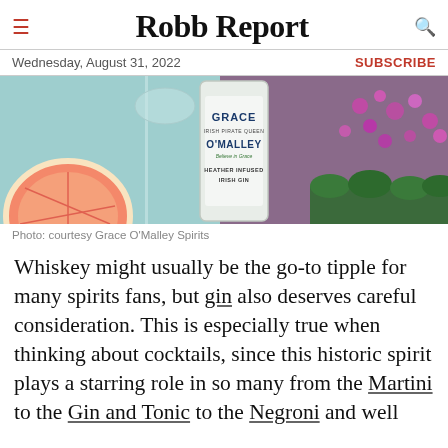Robb Report
Wednesday, August 31, 2022
SUBSCRIBE
[Figure (photo): Hero image showing a cocktail glass with grapefruit slice on the left, a Grace O'Malley Irish Pirate Queen Heather Infused Irish Gin bottle in the center, and pink flowers on the right.]
Photo: courtesy Grace O'Malley Spirits
Whiskey might usually be the go-to tipple for many spirits fans, but gin also deserves careful consideration. This is especially true when thinking about cocktails, since this historic spirit plays a starring role in so many from the Martini to the Gin and Tonic to the Negroni and well